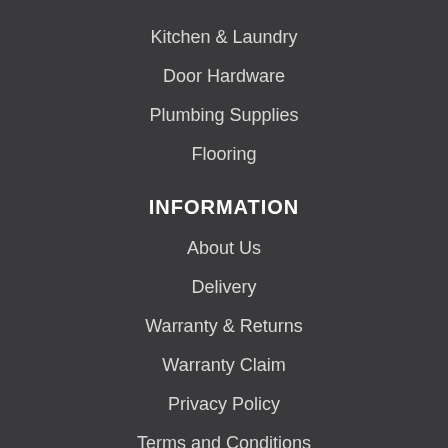Kitchen & Laundry
Door Hardware
Plumbing Supplies
Flooring
INFORMATION
About Us
Delivery
Warranty & Returns
Warranty Claim
Privacy Policy
Terms and Conditions
Register a Trade Account
Contact Us